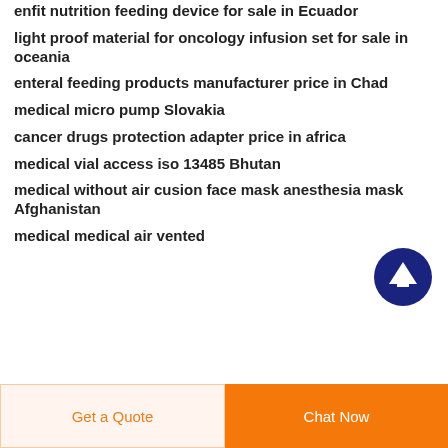enfit nutrition feeding device for sale in Ecuador
light proof material for oncology infusion set for sale in oceania
enteral feeding products manufacturer price in Chad
medical micro pump Slovakia
cancer drugs protection adapter price in africa
medical vial access iso 13485 Bhutan
medical without air cusion face mask anesthesia mask Afghanistan
medical medical air vented